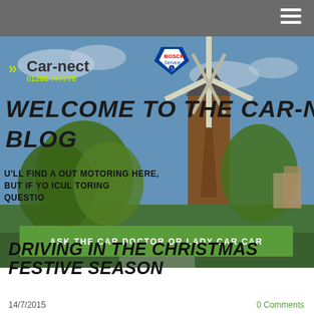Car-nect 01268 777778 | BOSCH Service
[Figure (photo): Hero image of a windmill with trees and blue sky, overlaid with Car-nect blog branding, text 'WELCOME TO THE CAR-NECT BLOG' and subtext about motoring, with a green CTA button 'ASK THE CAR DOCTOR OR LADY CAR CAR']
DRIVING IN THE CHRISTMAS FESTIVE SEASON
14/7/2015
0 Comments